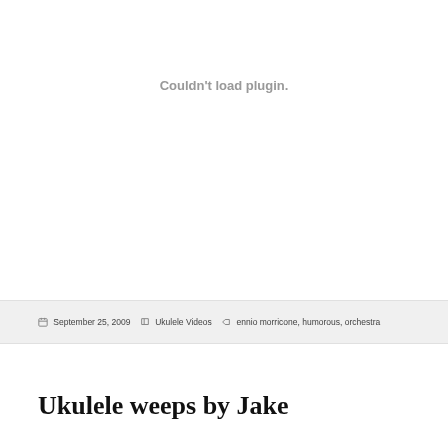[Figure (other): Embedded plugin area showing 'Couldn't load plugin.' error message]
September 25, 2009   Ukulele Videos   ennio morricone, humorous, orchestra
Ukulele weeps by Jake